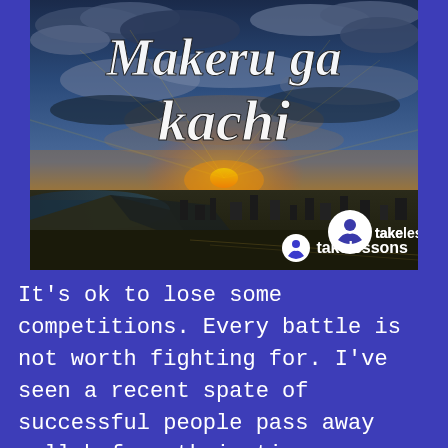[Figure (photo): Aerial photo of a coastal city at sunset with dramatic cloudy sky. Large italic bold white text reads 'Makeru ga kachi'. Bottom right corner shows TakeLessons logo (white circular icon with person figure and 'takelessons' in white text).]
It's ok to lose some competitions. Every battle is not worth fighting for. I've seen a recent spate of successful people pass away well before their time,